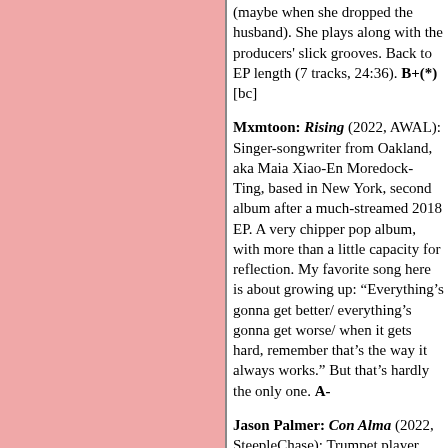[Figure (illustration): Pink/salmon colored rectangle occupying the left column of the page]
(maybe when she dropped the husband). She plays along with the producers' slick grooves. Back to EP length (7 tracks, 24:36). B+(*) [bc]
Mxmtoon: Rising (2022, AWAL): Singer-songwriter from Oakland, aka Maia Xiao-En Moredock-Ting, based in New York, second album after a much-streamed 2018 EP. A very chipper pop album, with more than a little capacity for reflection. My favorite song here is about growing up: "Everything's gonna get better/ everything's gonna get worse/ when it gets hard, remember that's the way it always works." But that's hardly the only one. A-
Jason Palmer: Con Alma (2022, SteepleChase): Trumpet player, over a dozen albums since 2014. Quartet with Leo Genovese (keyboards), Joe Martin (bass),